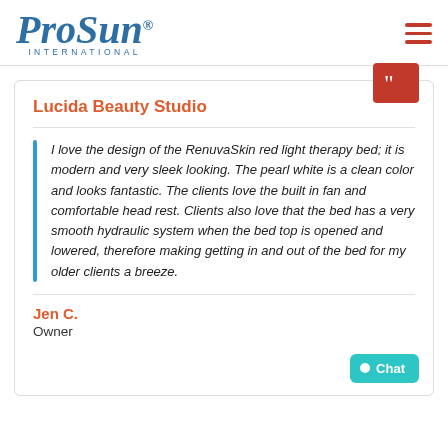ProSun International
Lucida Beauty Studio
I love the design of the RenuvaSkin red light therapy bed; it is modern and very sleek looking. The pearl white is a clean color and looks fantastic. The clients love the built in fan and comfortable head rest. Clients also love that the bed has a very smooth hydraulic system when the bed top is opened and lowered, therefore making getting in and out of the bed for my older clients a breeze.
Jen C.
Owner